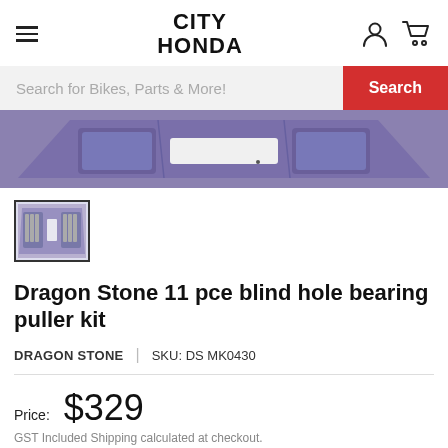CITY HONDA
Search for Bikes, Parts & More!
[Figure (photo): Top portion of a blind hole bearing puller kit case, showing a dark purple/blue moulded tool case interior]
[Figure (photo): Thumbnail image of Dragon Stone 11 piece blind hole bearing puller kit showing tool case with tools arranged inside]
Dragon Stone 11 pce blind hole bearing puller kit
DRAGON STONE  |  SKU: DS MK0430
Price:  $329
GST Included Shipping calculated at checkout.